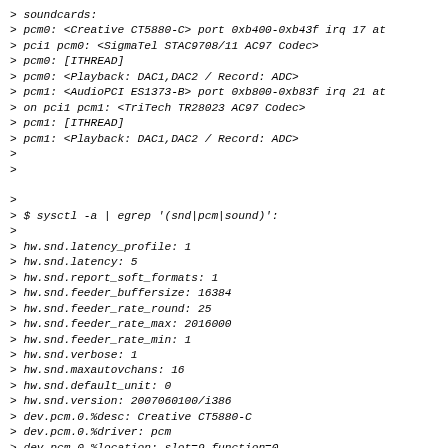> soundcards:
> pcm0: <Creative CT5880-C> port 0xb400-0xb43f irq 17 at
> pci1 pcm0: <SigmaTel STAC9708/11 AC97 Codec>
> pcm0: [ITHREAD]
> pcm0: <Playback: DAC1,DAC2 / Record: ADC>
> pcm1: <AudioPCI ES1373-B> port 0xb800-0xb83f irq 21 at
> on pci1 pcm1: <TriTech TR28023 AC97 Codec>
> pcm1: [ITHREAD]
> pcm1: <Playback: DAC1,DAC2 / Record: ADC>
>
>
>
> $ sysctl -a | egrep '(snd|pcm|sound)':
>
> hw.snd.latency_profile: 1
> hw.snd.latency: 5
> hw.snd.report_soft_formats: 1
> hw.snd.feeder_buffersize: 16384
> hw.snd.feeder_rate_round: 25
> hw.snd.feeder_rate_max: 2016000
> hw.snd.feeder_rate_min: 1
> hw.snd.verbose: 1
> hw.snd.maxautovchans: 16
> hw.snd.default_unit: 0
> hw.snd.version: 2007060100/i386
> dev.pcm.0.%desc: Creative CT5880-C
> dev.pcm.0.%driver: pcm
> dev.pcm.0.%location: slot=9 function=0
> dev.pcm.0.%pnpinfo: vendor=0x1274 device=0x5880 subvend
> subdevice=0x8001 class=0x040100